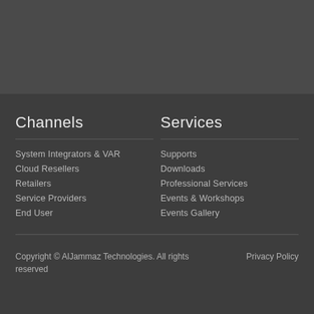Channels
System Integrators & VAR
Cloud Resellers
Retailers
Service Providers
End User
Services
Supports
Downloads
Professional Services
Events & Workshops
Events Gallery
Copyright © AlJammaz Technologies. All rights reserved
Privacy Policy